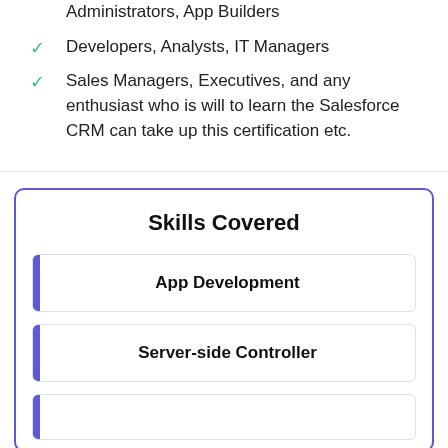Administrators, App Builders
Developers, Analysts, IT Managers
Sales Managers, Executives, and any enthusiast who is will to learn the Salesforce CRM can take up this certification etc.
Skills Covered
App Development
Server-side Controller